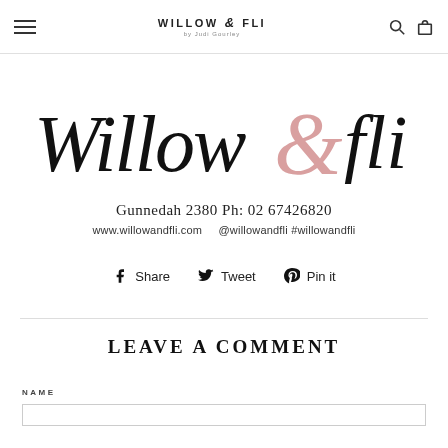WILLOW & FLI by Judi Gourley
[Figure (logo): Willow & Fli script logo with pink ampersand]
Gunnedah 2380 Ph: 02 67426820
www.willowandfli.com   @willowandfli #willowandfli
Share   Tweet   Pin it
LEAVE A COMMENT
NAME